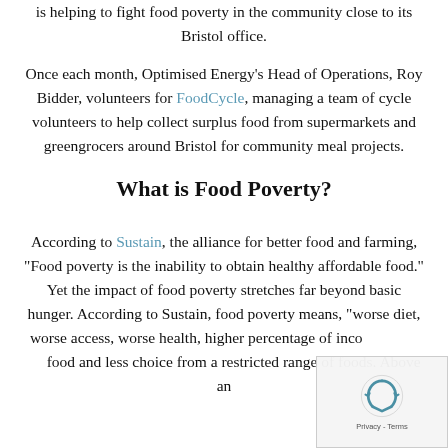is helping to fight food poverty in the community close to its Bristol office.
Once each month, Optimised Energy's Head of Operations, Roy Bidder, volunteers for FoodCycle, managing a team of cycle volunteers to help collect surplus food from supermarkets and greengrocers around Bristol for community meal projects.
What is Food Poverty?
According to Sustain, the alliance for better food and farming, “Food poverty is the inability to obtain healthy affordable food.” Yet the impact of food poverty stretches far beyond basic hunger. According to Sustain, food poverty means, “worse diet, worse access, worse health, higher percentage of income spent on food and less choice from a restricted range of foods. Above an